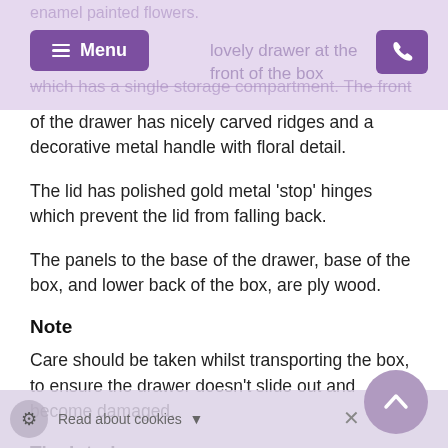enamel painted flowers. …lovely drawer at the front of the box which has a single storage compartment. The front
of the drawer has nicely carved ridges and a decorative metal handle with floral detail.
The lid has polished gold metal 'stop' hinges which prevent the lid from falling back.
The panels to the base of the drawer, base of the box, and lower back of the box, are ply wood.
Note
Care should be taken whilst transporting the box, to ensure the drawer doesn't slide out and become damaged.
The Interior
The interior has three storage compartments as well as a ring storage section.
Read about cookies